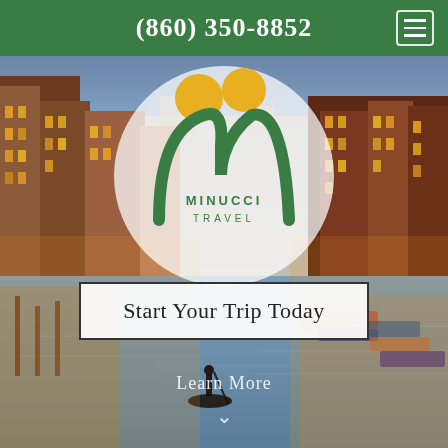(860) 350-8852
[Figure (photo): Venice canal at dusk with gondolier on water, colorful buildings lining both sides, warm city lights reflecting on the water]
[Figure (logo): Minucci Travel logo: two golden circles representing heads above a green M-shape arch, with text MINUCCI TRAVEL below]
Start Your Trip Today
Learn More